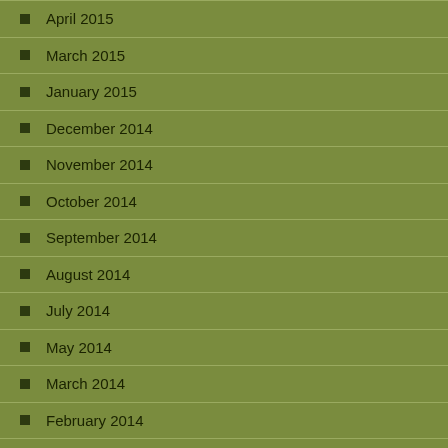April 2015
March 2015
January 2015
December 2014
November 2014
October 2014
September 2014
August 2014
July 2014
May 2014
March 2014
February 2014
January 2014
December 2013